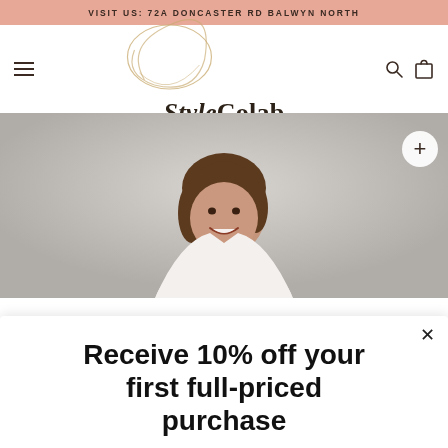VISIT US: 72A DONCASTER RD BALWYN NORTH
[Figure (logo): StyleColab logo with decorative gold swirl and tagline 'NEW & PRELOVED PIECES']
[Figure (photo): Smiling woman with brown hair wearing a white top, photographed against a light grey background]
Receive 10% off your first full-priced purchase